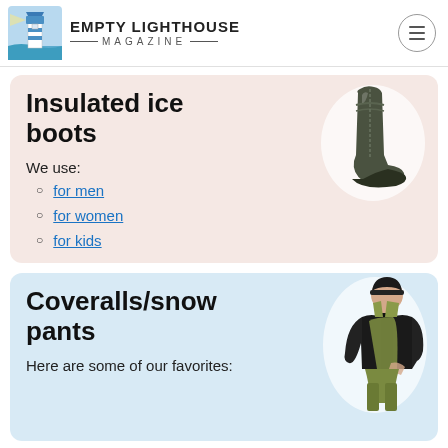EMPTY LIGHTHOUSE MAGAZINE
Insulated ice boots
We use:
for men
for women
for kids
[Figure (photo): Dark olive/green insulated ice boot, side view]
Coveralls/snow pants
Here are some of our favorites:
[Figure (photo): Man wearing olive green coveralls/bib snow pants with black jacket and black beanie hat]